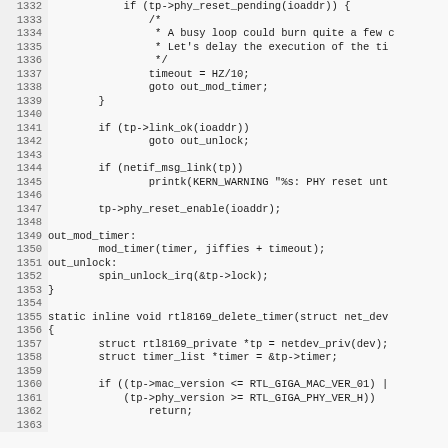[Figure (screenshot): Source code listing in C showing lines 1332-1363 of a Linux kernel driver (rtl8169). The code includes a timer handler with PHY reset logic, goto labels (out_mod_timer, out_unlock), and the beginning of rtl8169_delete_timer function.]